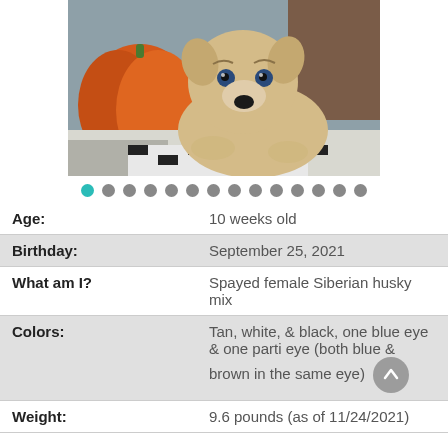[Figure (photo): A tan/cream puppy with blue eyes lying next to an orange pumpkin on a black and white patterned blanket]
Carousel navigation dots: 1 active (teal), 13 inactive (grey)
| Age: | 10 weeks old |
| Birthday: | September 25, 2021 |
| What am I? | Spayed female Siberian husky mix |
| Colors: | Tan, white, & black, one blue eye & one parti eye (both blue & brown in the same eye) |
| Weight: | 9.6 pounds (as of 11/24/2021) |